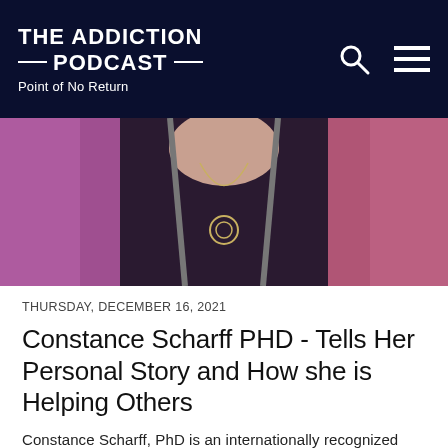THE ADDICTION PODCAST — PODCAST — Point of No Return
[Figure (photo): Close-up photo of a person wearing a black top, purple/pink knit cardigan, and a necklace with a circular pendant, cropped at the neck/shoulder area.]
THURSDAY, DECEMBER 16, 2021
Constance Scharff PHD - Tells Her Personal Story and How she is Helping Others
Constance Scharff, PhD is an internationally recognized speaker and author on the topics of addiction recovery and mental health. She most recently se...